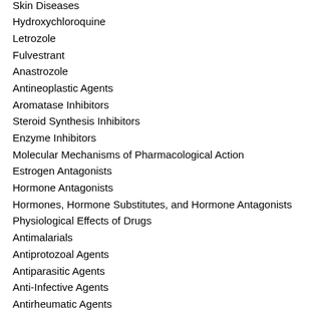Skin Diseases
Hydroxychloroquine
Letrozole
Fulvestrant
Anastrozole
Antineoplastic Agents
Aromatase Inhibitors
Steroid Synthesis Inhibitors
Enzyme Inhibitors
Molecular Mechanisms of Pharmacological Action
Estrogen Antagonists
Hormone Antagonists
Hormones, Hormone Substitutes, and Hormone Antagonists
Physiological Effects of Drugs
Antimalarials
Antiprotozoal Agents
Antiparasitic Agents
Anti-Infective Agents
Antirheumatic Agents